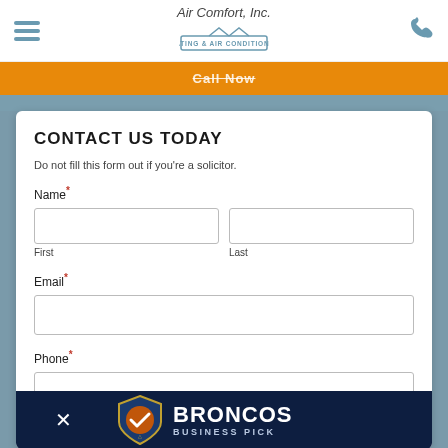Air Comfort, Inc. - HEATING & AIR CONDITIONING
Call Now
CONTACT US TODAY
Do not fill this form out if you're a solicitor.
Name*
First
Last
Email*
Phone*
Customer Type*
[Figure (logo): Broncos Business Pick banner with shield logo, showing BRONCOS BUSINESS PICK text on dark navy background with close button]